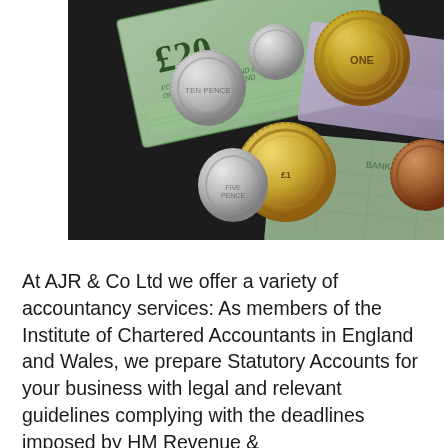[Figure (photo): Photograph of British pound currency — a £20 banknote and several coins (pound coins and other denominations) along with other banknotes on a dark surface.]
At AJR & Co Ltd we offer a variety of accountancy services: As members of the Institute of Chartered Accountants in England and Wales, we prepare Statutory Accounts for your business with legal and relevant guidelines complying with the deadlines imposed by HM Revenue & Customs and The Registrar of Companies in